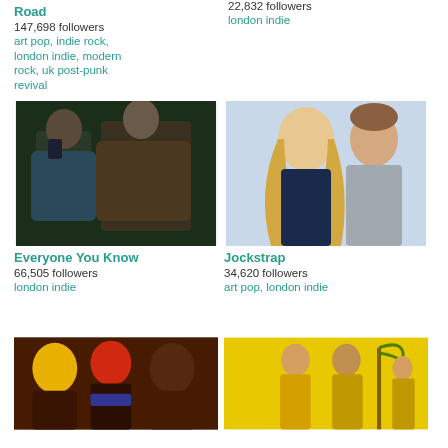Road
147,698 followers
art pop, indie rock, london indie, modern rock, uk post-punk revival
22,832 followers
london indie
[Figure (photo): Two males in dark moody setting, one wearing a blue jacket, one in a brown knit shirt]
Everyone You Know
66,505 followers
london indie
[Figure (photo): A woman with long blonde wavy hair and a man in a grey t-shirt against a light blue background]
Jockstrap
34,620 followers
art pop, london indie
[Figure (photo): Three people with colorful face coverings in dramatic orange/red lighting]
[Figure (photo): People in yellow outfits against a yellow background with illustrated plants]